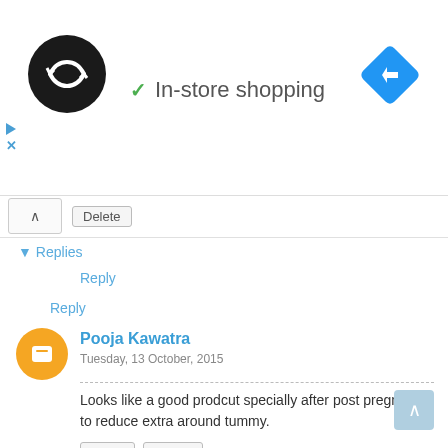[Figure (screenshot): Ad banner showing a black circular logo with double arrow, a green checkmark with text 'In-store shopping', and a blue diamond navigation icon on the right]
Delete
▾ Replies
Reply
Reply
Pooja Kawatra
Tuesday, 13 October, 2015
Looks like a good prodcut specially after post pregnancy to reduce extra around tummy.
Reply   Delete
▾ Replies
Rawlins GLAM
Wednesday, 14 October, 2015
It will certainly help to reduce faster